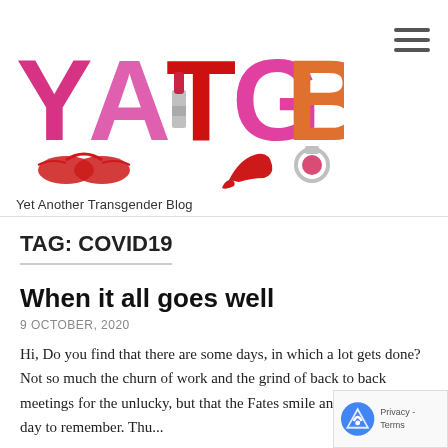[Figure (logo): YATGB blog logo with colorful letters Y A T G B decorated with lingerie, lipstick, high heel shoe, and ring illustrations]
Yet Another Transgender Blog
TAG: COVID19
When it all goes well
9 OCTOBER, 2020
Hi, Do you find that there are some days, in which a lot gets done? Not so much the churn of work and the grind of back to back meetings for the unlucky, but that the Fates smile and you have a day to remember. Thu...